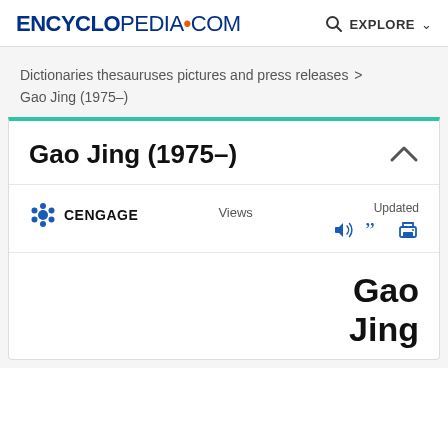ENCYCLopedia•com  🔍 EXPLORE
Dictionaries thesauruses pictures and press releases › 
Gao Jing (1975–)
Gao Jing (1975–)
CENGAGE   Views   Updated
Gao Jing